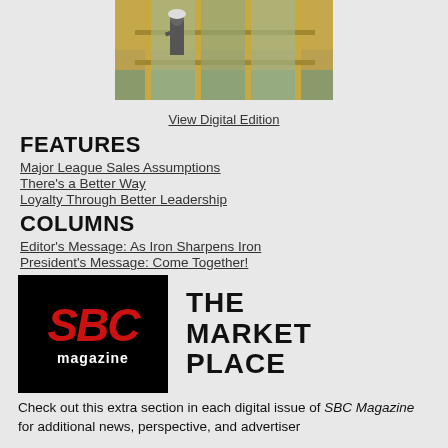[Figure (photo): Photo of a construction worker installing large windows or glass panels on a building exterior with fall foliage visible in the background]
View Digital Edition
FEATURES
Major League Sales Assumptions
There's a Better Way
Loyalty Through Better Leadership
COLUMNS
Editor's Message: As Iron Sharpens Iron
President's Message: Come Together!
[Figure (logo): SBC Magazine logo on black background alongside 'THE MARKET PLACE' text]
Check out this extra section in each digital issue of SBC Magazine for additional news, perspective, and advertiser